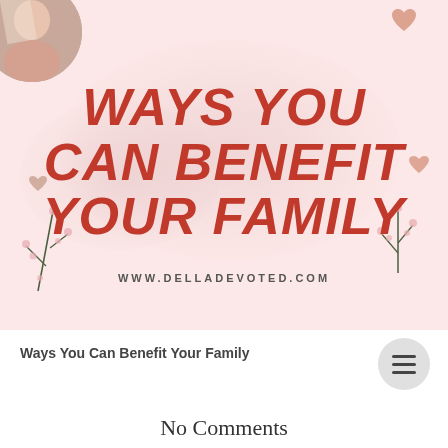[Figure (illustration): Blog post banner image with pink/rose background, decorative hearts and floral branches, bold red italic title text 'WAYS YOU CAN BENEFIT YOUR FAMILY' and website URL www.delladevoted.com]
Ways You Can Benefit Your Family
No Comments